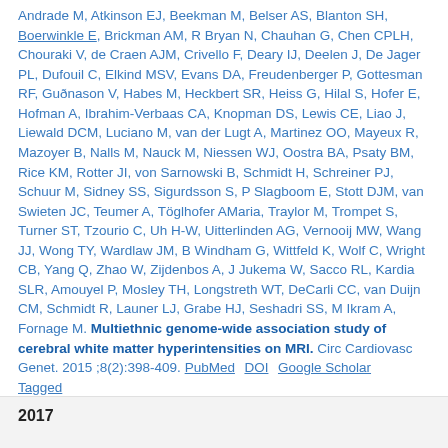Andrade M, Atkinson EJ, Beekman M, Belser AS, Blanton SH, Boerwinkle E, Brickman AM, R Bryan N, Chauhan G, Chen CPLH, Chouraki V, de Craen AJM, Crivello F, Deary IJ, Deelen J, De Jager PL, Dufouil C, Elkind MSV, Evans DA, Freudenberger P, Gottesman RF, Guðnason V, Habes M, Heckbert SR, Heiss G, Hilal S, Hofer E, Hofman A, Ibrahim-Verbaas CA, Knopman DS, Lewis CE, Liao J, Liewald DCM, Luciano M, van der Lugt A, Martinez OO, Mayeux R, Mazoyer B, Nalls M, Nauck M, Niessen WJ, Oostra BA, Psaty BM, Rice KM, Rotter JI, von Sarnowski B, Schmidt H, Schreiner PJ, Schuur M, Sidney SS, Sigurdsson S, P Slagboom E, Stott DJM, van Swieten JC, Teumer A, Töglhofer AMaria, Traylor M, Trompet S, Turner ST, Tzourio C, Uh H-W, Uitterlinden AG, Vernooij MW, Wang JJ, Wong TY, Wardlaw JM, B Windham G, Wittfeld K, Wolf C, Wright CB, Yang Q, Zhao W, Zijdenbos A, J Jukema W, Sacco RL, Kardia SLR, Amouyel P, Mosley TH, Longstreth WT, DeCarli CC, van Duijn CM, Schmidt R, Launer LJ, Grabe HJ, Seshadri SS, M Ikram A, Fornage M. Multiethnic genome-wide association study of cerebral white matter hyperintensities on MRI. Circ Cardiovasc Genet. 2015;8(2):398-409. PubMed DOI Google Scholar Tagged
2017